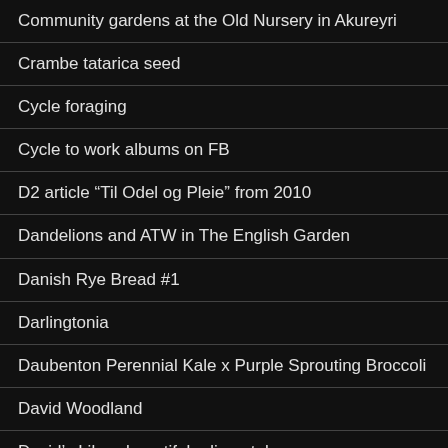Community gardens at the Old Nursery in Akureyri
Crambe tatarica seed
Cycle foraging
Cycle to work albums on FB
D2 article “Til Odel og Pleie” from 2010
Dandelions and ATW in The English Garden
Danish Rye Bread #1
Darlingtonia
Daubenton Perennial Kale x Purple Sprouting Broccoli
David Woodland
David’s Lily, a beautiful edimental
Digging wild dandelion roots
Double Physalis